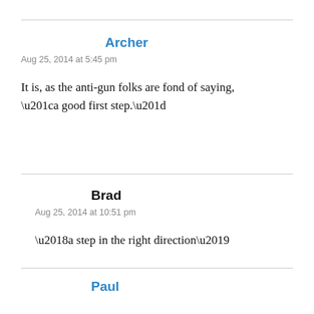Archer
Aug 25, 2014 at 5:45 pm
It is, as the anti-gun folks are fond of saying, “a good first step.”
Brad
Aug 25, 2014 at 10:51 pm
‘a step in the right direction’
Paul